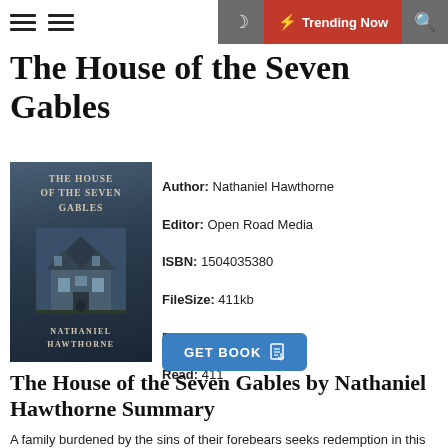Trending Now
The House of the Seven Gables
[Figure (illustration): Book cover of 'The House of the Seven Gables' by Nathaniel Hawthorne, dark blue-grey tones showing a gothic house]
Author: Nathaniel Hawthorne
Editor: Open Road Media
ISBN: 1504035380
FileSize: 411kb
File Format: Pdf
Read: 411
The House of the Seven Gables by Nathaniel Hawthorne Summary
A family burdened by the sins of their forebears seeks redemption in this Gothic masterpiece from one of the most influential voices in American literature. In a small New England town, the haunted